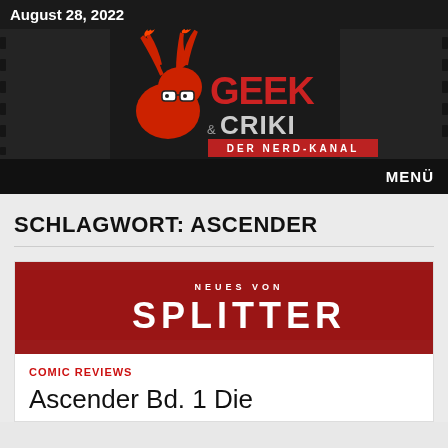August 28, 2022
[Figure (logo): GeekCriki – Der Nerd-Kanal logo with moose mascot wearing glasses, red letters on dark background with film strip imagery]
MENÜ
SCHLAGWORT: ASCENDER
[Figure (logo): Neues von SPLITTER banner – dark red background with white bold text NEUES VON above large SPLITTER logo]
COMIC REVIEWS
Ascender Bd. 1 Die